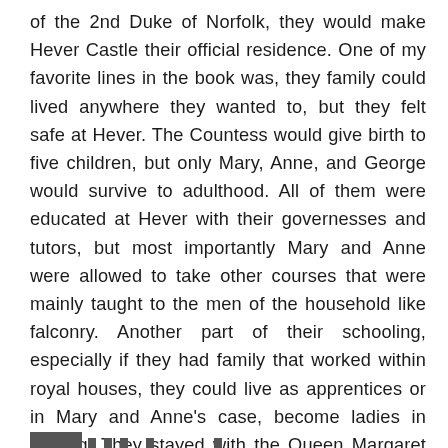of the 2nd Duke of Norfolk, they would make Hever Castle their official residence. One of my favorite lines in the book was, they family could lived anywhere they wanted to, but they felt safe at Hever. The Countess would give birth to five children, but only Mary, Anne, and George would survive to adulthood. All of them were educated at Hever with their governesses and tutors, but most importantly Mary and Anne were allowed to take other courses that were mainly taught to the men of the household like falconry. Another part of their schooling, especially if they had family that worked within royal houses, they could live as apprentices or in Mary and Anne's case, become ladies in waiting. They stayed with the Queen Margaret of Austria and Queen Claude of France before coming back to England and being part of Catherine of Aragon's household.